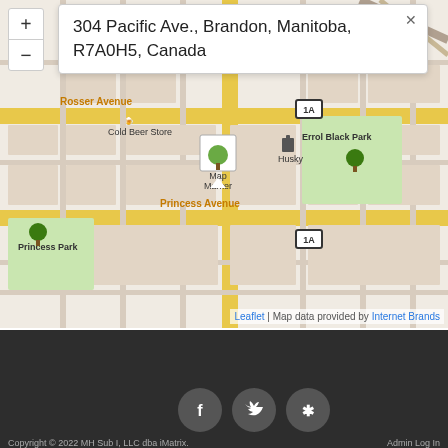[Figure (map): Street map of Brandon, Manitoba showing location at 304 Pacific Ave. Map shows Rosser Avenue, Princess Avenue, Errol Black Park, Princess Park, Cold Beer Store, Husky gas station, and route 1A badges. Map popup shows address: 304 Pacific Ave., Brandon, Manitoba, R7A0H5, Canada. Attribution: Leaflet | Map data provided by Internet Brands.]
Copyright © 2022 MH Sub I, LLC dba iMatrix.    Admin Log In